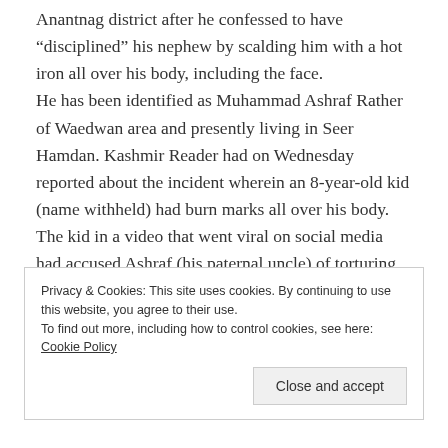Anantnag district after he confessed to have “disciplined” his nephew by scalding him with a hot iron all over his body, including the face. He has been identified as Muhammad Ashraf Rather of Waedwan area and presently living in Seer Hamdan. Kashmir Reader had on Wednesday reported about the incident wherein an 8-year-old kid (name withheld) had burn marks all over his body. The kid in a video that went viral on social media had accused Ashraf (his paternal uncle) of torturing him.
Privacy & Cookies: This site uses cookies. By continuing to use this website, you agree to their use. To find out more, including how to control cookies, see here: Cookie Policy
Close and accept